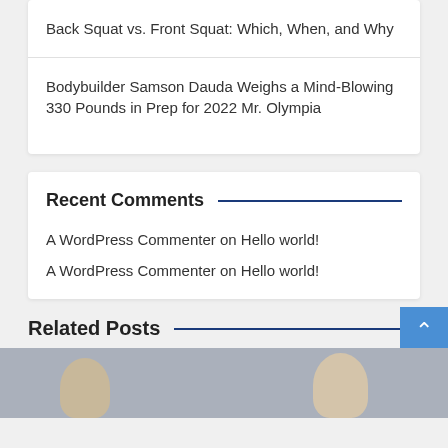Back Squat vs. Front Squat: Which, When, and Why
Bodybuilder Samson Dauda Weighs a Mind-Blowing 330 Pounds in Prep for 2022 Mr. Olympia
Recent Comments
A WordPress Commenter on Hello world!
A WordPress Commenter on Hello world!
Related Posts
[Figure (photo): Two people looking at a laptop or monitor, side by side]